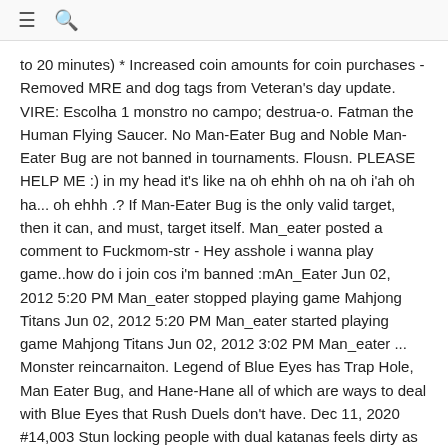≡ 🔍
to 20 minutes) * Increased coin amounts for coin purchases - Removed MRE and dog tags from Veteran's day update. VIRE: Escolha 1 monstro no campo; destrua-o. Fatman the Human Flying Saucer. No Man-Eater Bug and Noble Man-Eater Bug are not banned in tournaments. Flousn. PLEASE HELP ME :) in my head it's like na oh ehhh oh na oh i'ah oh ha... oh ehhh .? If Man-Eater Bug is the only valid target, then it can, and must, target itself. Man_eater posted a comment to Fuckmom-str - Hey asshole i wanna play game..how do i join cos i'm banned :mAn_Eater Jun 02, 2012 5:20 PM Man_eater stopped playing game Mahjong Titans Jun 02, 2012 5:20 PM Man_eater started playing game Mahjong Titans Jun 02, 2012 3:02 PM Man_eater ... Monster reincarnaiton. Legend of Blue Eyes has Trap Hole, Man Eater Bug, and Hane-Hane all of which are ways to deal with Blue Eyes that Rush Duels don't have. Dec 11, 2020 #14,003 Stun locking people with dual katanas feels dirty as fuck. Man-Eater Bug's effect is mandatory. The candiru feeds on blood and is commonly found in the gill cavities of other fishes. Thread starter Diver; Start